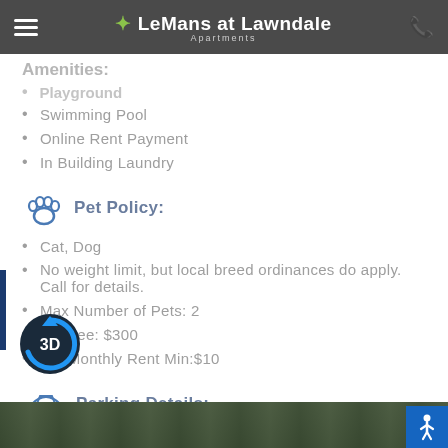LeMans at Lawndale Apartments
Swimming Pool
Online Rent Payment
In Building Laundry
Pet Policy:
Cat, Dog
No weight limit, but local breed ordinances do apply. Call for details.
Max Number of Pets: 2
Pet Fee: $300
Pet Monthly Rent Min:$10
Parking Details:
Parking Comment: Please call for parking information.